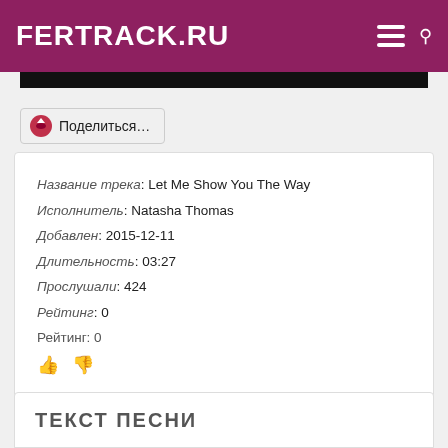FERTRACK.RU
[Figure (screenshot): Black bar below header]
Поделиться…
Название трека: Let Me Show You The Way
Исполнитель: Natasha Thomas
Добавлен: 2015-12-11
Длительность: 03:27
Прослушали: 424
Рейтинг: 0
Рейтинг: 0
СКАЧАТЬ
Все песни исполнителя Natasha Thomas
ТЕКСТ ПЕСНИ